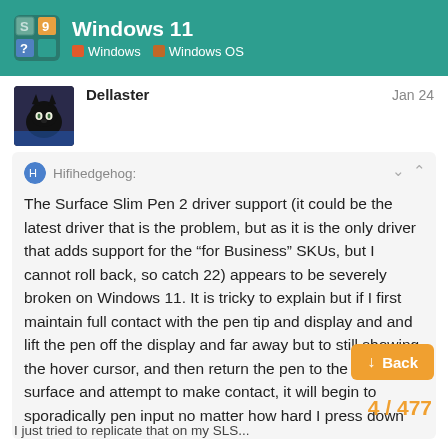Windows 11 | Windows | Windows OS
Dellaster    Jan 24
Hifihedgehog:
The Surface Slim Pen 2 driver support (it could be the latest driver that is the problem, but as it is the only driver that adds support for the “for Business” SKUs, but I cannot roll back, so catch 22) appears to be severely broken on Windows 11. It is tricky to explain but if I first maintain full contact with the pen tip and display and and lift the pen off the display and far away but to still showing the hover cursor, and then return the pen to the display surface and attempt to make contact, it will begin to sporadically pen input no matter how hard I press down
4 / 477
I just tried to replicate that on my SLS...